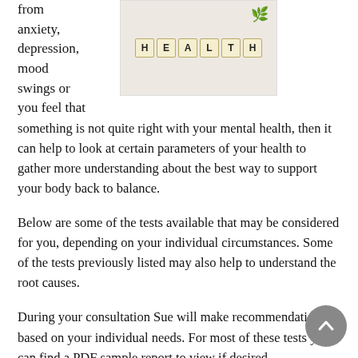from anxiety, depression, mood swings or you feel that something is not quite right with your mental health, then it can help to look at certain parameters of your health to gather more understanding about the best way to support your body back to balance.
[Figure (photo): Scrabble letter tiles spelling HEALTH on a light background with green leaf decoration]
Below are some of the tests available that may be considered for you, depending on your individual circumstances. Some of the tests previously listed may also help to understand the root causes.
During your consultation Sue will make recommendations based on your individual needs. For most of these tests you can find a PDF sample report to view if desired.